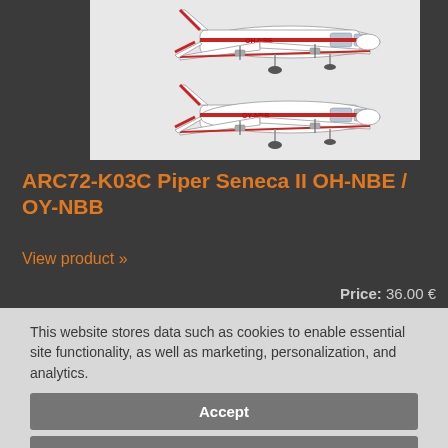[Figure (illustration): Technical illustration of two Piper Seneca II aircraft side by side, registration OH-NBE (top) and OY-NBB (bottom), white with red stripes]
ARC72-K03C Piper Seneca II OH-NBE / OY-NBB
View product »
Price: 36.00 €
This website stores data such as cookies to enable essential site functionality, as well as marketing, personalization, and analytics.
Accept
Deny